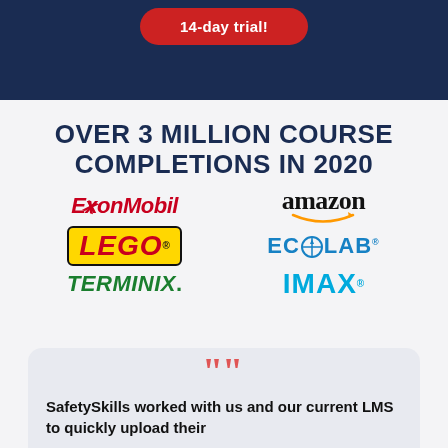[Figure (infographic): Red rounded button with white text '14-day trial!' on dark navy background]
OVER 3 MILLION COURSE COMPLETIONS IN 2020
[Figure (logo): Company logos: ExxonMobil, amazon, LEGO, ECOLAB, TERMINIX, IMAX]
SafetySkills worked with us and our current LMS to quickly upload their